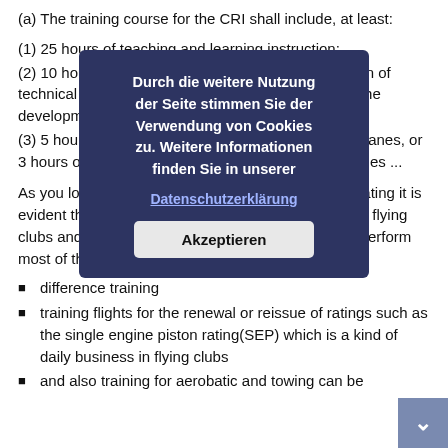(a) The training course for the CRI shall include, at least:
(1) 25 hours of teaching and learning instruction;
(2) 10 hours of technical knowledge including revision of technical knowledge, the study of lesson plans and the development of classroom and instructional skills;
(3) 5 hours of flight instruction on multi-engine aeroplanes, or 3 hours of flight instruction on single-engine aeroplanes ...
As you look into the privileges provides by the CRI-rating it is evident that the CRI-rating is of high value for a lot of flying clubs and individual pilots. The CRI-rated pilot may perform most of the duties of a full flight instructor , such as:
difference training
training flights for the renewal or reissue of ratings such as the single engine piston rating(SEP) which is a kind of daily business in flying clubs
and also training for aerobatic and towing can be